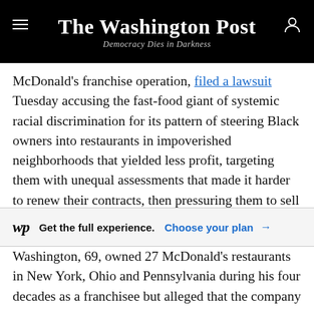The Washington Post — Democracy Dies in Darkness
McDonald's franchise operation, filed a lawsuit Tuesday accusing the fast-food giant of systemic racial discrimination for its pattern of steering Black owners into restaurants in impoverished neighborhoods that yielded less profit, targeting them with unequal assessments that made it harder to renew their contracts, then pressuring them to sell to White owners.
wp Get the full experience. Choose your plan →
Washington, 69, owned 27 McDonald's restaurants in New York, Ohio and Pennsylvania during his four decades as a franchisee but alleged that the company